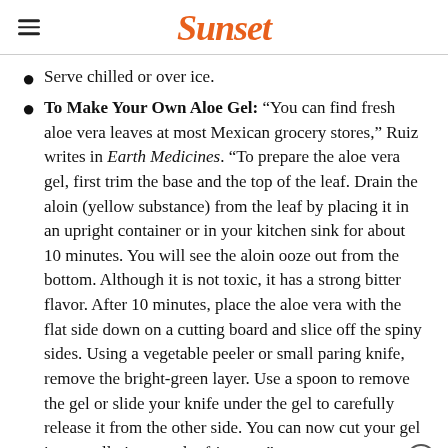Sunset
Serve chilled or over ice.
To Make Your Own Aloe Gel: “You can find fresh aloe vera leaves at most Mexican grocery stores,” Ruiz writes in Earth Medicines. “To prepare the aloe vera gel, first trim the base and the top of the leaf. Drain the aloin (yellow substance) from the leaf by placing it in an upright container or in your kitchen sink for about 10 minutes. You will see the aloin ooze out from the bottom. Although it is not toxic, it has a strong bitter flavor. After 10 minutes, place the aloe vera with the flat side down on a cutting board and slice off the spiny sides. Using a vegetable peeler or small paring knife, remove the bright-green layer. Use a spoon to remove the gel or slide your knife under the gel to carefully release it from the other side. You can now cut your gel into small pieces and refrigerate.”